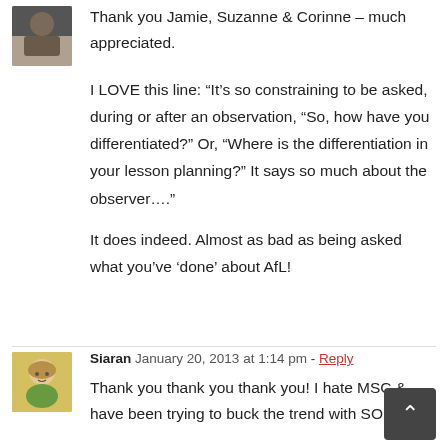[Figure (photo): Small profile photo avatar showing a person (partial, dark tones) at top left of first comment]
Thank you Jamie, Suzanne & Corinne – much appreciated.

I LOVE this line: “It’s so constraining to be asked, during or after an observation, “So, how have you differentiated?” Or, “Where is the differentiation in your lesson planning?” It says so much about the observer….”

It does indeed. Almost as bad as being asked what you’ve ‘done’ about AfL!
[Figure (illustration): Cartoon-style avatar of a woman with blonde/brown hair and yellow-green top for Siaran comment]
Siaran   January 20, 2013 at 1:14 pm - Reply

Thank you thank you thank you! I hate MSC & have been trying to buck the trend with SOLO